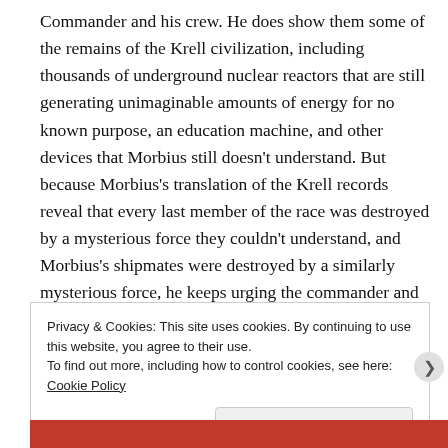Commander and his crew. He does show them some of the remains of the Krell civilization, including thousands of underground nuclear reactors that are still generating unimaginable amounts of energy for no known purpose, an education machine, and other devices that Morbius still doesn't understand. But because Morbius's translation of the Krell records reveal that every last member of the race was destroyed by a mysterious force they couldn't understand, and Morbius's shipmates were destroyed by a similarly mysterious force, he keeps urging the commander and his crew to leave. And the first night the ship is on the planet, and invisible monster sneaks into the ship, kills a crewman, and disables the hyperspace communicator,
Privacy & Cookies: This site uses cookies. By continuing to use this website, you agree to their use. To find out more, including how to control cookies, see here: Cookie Policy
Close and accept